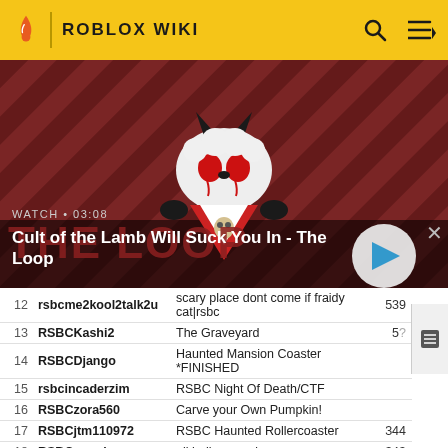ROBLOX WIKI
[Figure (screenshot): Video thumbnail for 'Cult of the Lamb Will Suck You In - The Loop' showing a cartoon lamb demon character on a red and dark striped background. Shows WATCH • 03:08 label and a play button.]
| # | Username | Place Name | Score |
| --- | --- | --- | --- |
| 12 | rsbcme2kool2talk2u | scary place dont come if fraidy cat|rsbc | 539 |
| 13 | RSBCKashi2 | The Graveyard | 5? |
| 14 | RSBCDjango | Haunted Mansion Coaster *FINISHED |  |
| 15 | rsbcincaderzim | RSBC Night Of Death/CTF |  |
| 16 | RSBCzora560 | Carve your Own Pumpkin! |  |
| 17 | RSBCjtm110972 | RSBC Haunted Rollercoaster | 344 |
| 18 | RSBCemerl | all hallows end | 343 |
| 19 | RSBCjacob6441443 | RSBC The Creepy GraveYard RPG | 331 |
| 20 | RSBCGokuOozaru | Ancient Graveyard | 328 |
| 21 | RSBCaxelflames | Roblox Halloween Headquarters | 305 |